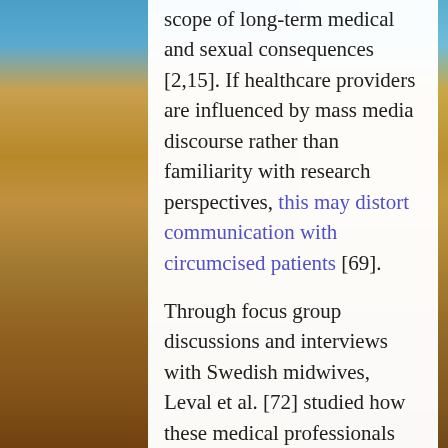scope of long-term medical and sexual consequences [2,15]. If healthcare providers are influenced by mass media discourse rather than familiarity with research perspectives, this may distort communication with circumcised patients [69].
Through focus group discussions and interviews with Swedish midwives, Leval et al. [72] studied how these medical professionals discussed circumcised female patients' sexuality. They found that midwives not only experienced encounters with circumcised women as stressful due